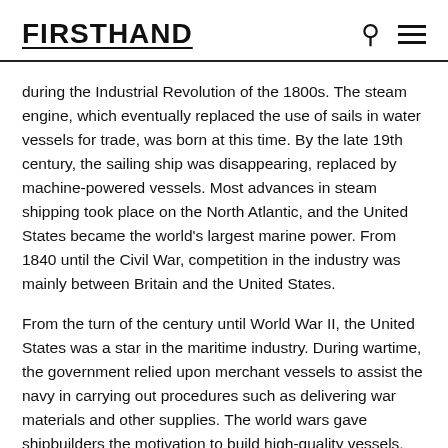FIRSTHAND
during the Industrial Revolution of the 1800s. The steam engine, which eventually replaced the use of sails in water vessels for trade, was born at this time. By the late 19th century, the sailing ship was disappearing, replaced by machine-powered vessels. Most advances in steam shipping took place on the North Atlantic, and the United States became the world's largest marine power. From 1840 until the Civil War, competition in the industry was mainly between Britain and the United States.
From the turn of the century until World War II, the United States was a star in the maritime industry. During wartime, the government relied upon merchant vessels to assist the navy in carrying out procedures such as delivering war materials and other supplies. The world wars gave shipbuilders the motivation to build high-quality vessels, which were ordered by the defense industry. Even today, the government relies on merchant marine vessels to be